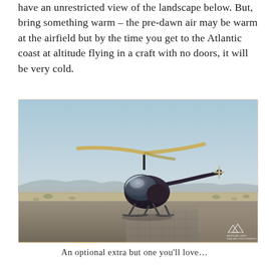have an unrestricted view of the landscape below. But, bring something warm – the pre-dawn air may be warm at the airfield but by the time you get to the Atlantic coast at altitude flying in a craft with no doors, it will be very cold.
[Figure (photo): A small Robinson-style helicopter parked on a concrete/paved helipad at sunset or sunrise in a desert landscape. The helicopter is dark-colored (black/maroon) with a light-colored (tan/gold) rotor blade. The background shows a pale blue sky, distant mountains on the horizon, scrubby desert terrain, and a warm golden sun near the horizon. A small white mountain logo/watermark is visible in the lower right corner.]
An optional extra but one you'll love…